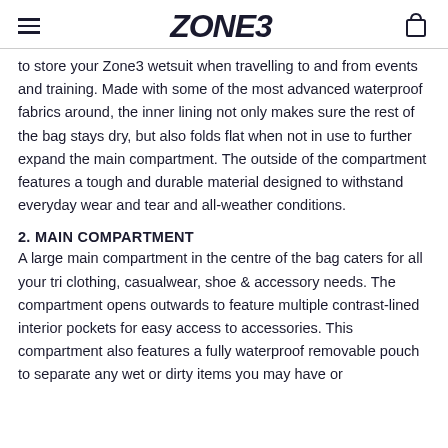ZONE3
to store your Zone3 wetsuit when travelling to and from events and training. Made with some of the most advanced waterproof fabrics around, the inner lining not only makes sure the rest of the bag stays dry, but also folds flat when not in use to further expand the main compartment. The outside of the compartment features a tough and durable material designed to withstand everyday wear and tear and all-weather conditions.
2. MAIN COMPARTMENT
A large main compartment in the centre of the bag caters for all your tri clothing, casualwear, shoe & accessory needs. The compartment opens outwards to feature multiple contrast-lined interior pockets for easy access to accessories. This compartment also features a fully waterproof removable pouch to separate any wet or dirty items you may have or